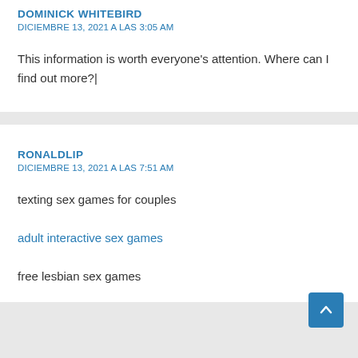DOMINICK WHITEBIRD
DICIEMBRE 13, 2021 A LAS 3:05 AM
This information is worth everyone’s attention. Where can I find out more?|
RONALDLIP
DICIEMBRE 13, 2021 A LAS 7:51 AM
texting sex games for couples
adult interactive sex games
free lesbian sex games